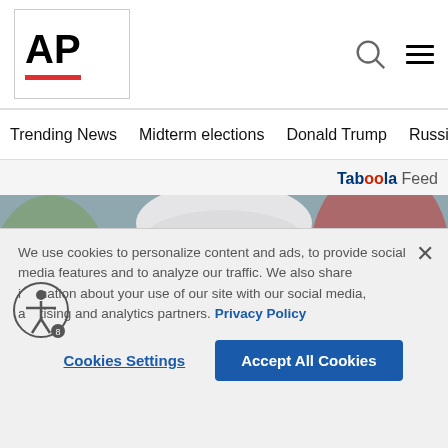AP
Trending News  Midterm elections  Donald Trump  Russia-Ukr
Taböola Feed
[Figure (photo): Close-up photo of a white-haired older man with a serious expression against a blurred colorful background]
We use cookies to personalize content and ads, to provide social media features and to analyze our traffic. We also share information about your use of our site with our social media, advertising and analytics partners. Privacy Policy
Cookies Settings
Accept All Cookies